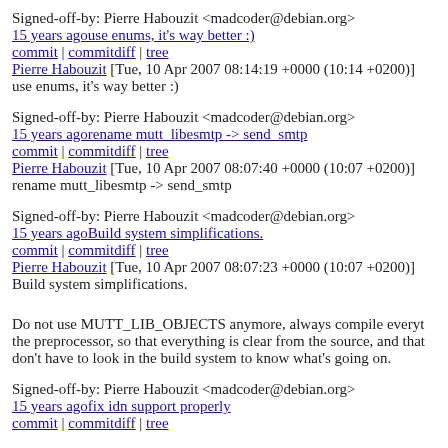Signed-off-by: Pierre Habouzit <madcoder@debian.org>
15 years agouse enums, it's way better :)
commit | commitdiff | tree
Pierre Habouzit [Tue, 10 Apr 2007 08:14:19 +0000 (10:14 +0200)]
use enums, it's way better :)
Signed-off-by: Pierre Habouzit <madcoder@debian.org>
15 years agorename mutt_libesmtp -> send_smtp
commit | commitdiff | tree
Pierre Habouzit [Tue, 10 Apr 2007 08:07:40 +0000 (10:07 +0200)]
rename mutt_libesmtp -> send_smtp
Signed-off-by: Pierre Habouzit <madcoder@debian.org>
15 years agoBuild system simplifications.
commit | commitdiff | tree
Pierre Habouzit [Tue, 10 Apr 2007 08:07:23 +0000 (10:07 +0200)]
Build system simplifications.

Do not use MUTT_LIB_OBJECTS anymore, always compile everyt the preprocessor, so that everything is clear from the source, and that don't have to look in the build system to know what's going on.
Signed-off-by: Pierre Habouzit <madcoder@debian.org>
15 years agofix idn support properly
commit | commitdiff | tree